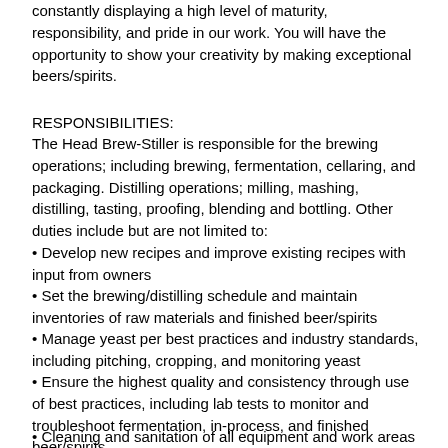constantly displaying a high level of maturity, responsibility, and pride in our work. You will have the opportunity to show your creativity by making exceptional beers/spirits.
RESPONSIBILITIES:
The Head Brew-Stiller is responsible for the brewing operations; including brewing, fermentation, cellaring, and packaging. Distilling operations; milling, mashing, distilling, tasting, proofing, blending and bottling. Other duties include but are not limited to:
Develop new recipes and improve existing recipes with input from owners
Set the brewing/distilling schedule and maintain inventories of raw materials and finished beer/spirits
Manage yeast per best practices and industry standards, including pitching, cropping, and monitoring yeast
Ensure the highest quality and consistency through use of best practices, including lab tests to monitor and troubleshoot fermentation, in-process, and finished beer/spirits
Cleaning and sanitation of all equipment and work areas
Ensure product quality in the pub by helping clean lines, checking CO2, etc.; work closely with pub staff and provide